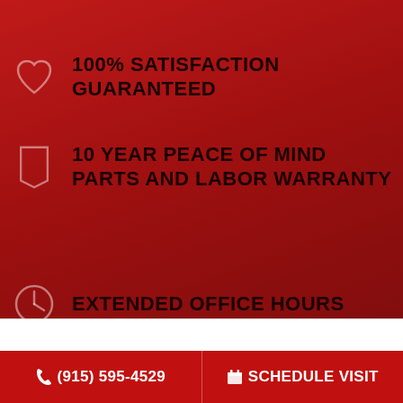100% SATISFACTION GUARANTEED
10 YEAR PEACE OF MIND PARTS AND LABOR WARRANTY
EXTENDED OFFICE HOURS
Name *
(915) 595-4529  SCHEDULE VISIT